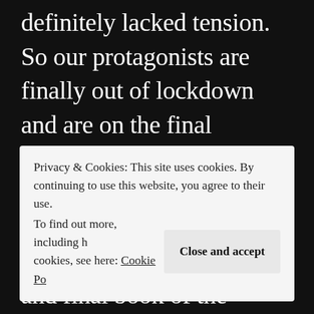definitely lacked tension. So our protagonists are finally out of lockdown and are on the final mission to stop Relos Var, amongst others. That's about all I can say without spoilers, this being the fifth and final book of the series. Like
Privacy & Cookies: This site uses cookies. By continuing to use this website, you agree to their use.
To find out more, including h[ow to control] cookies, see here: Cookie Po[licy]